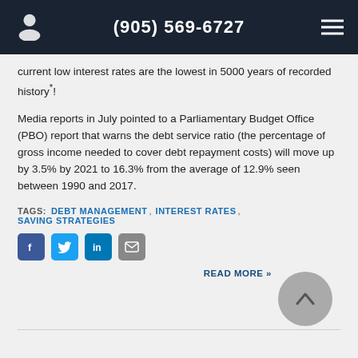(905) 569-6727
current low interest rates are the lowest in 5000 years of recorded history*!
Media reports in July pointed to a Parliamentary Budget Office (PBO) report that warns the debt service ratio (the percentage of gross income needed to cover debt repayment costs) will move up by 3.5% by 2021 to 16.3% from the average of 12.9% seen between 1990 and 2017.
TAGS: DEBT MANAGEMENT, INTEREST RATES, SAVING STRATEGIES
"Just-In-Time" Living
POSTED ON JANUARY 16, 2017